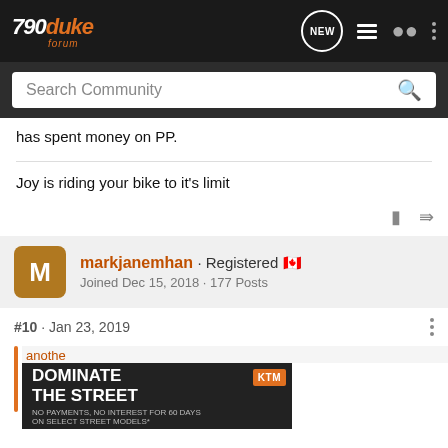790 Duke Forum
has spent money on PP.
Joy is riding your bike to it's limit
markjanemhan · Registered 🇨🇦
Joined Dec 15, 2018 · 177 Posts
#10  ·  Jan 23, 2019
[Figure (screenshot): Advertisement banner: DOMINATE THE STREET - NO PAYMENTS, NO INTEREST FOR 60 DAYS ON SELECT STREET MODELS* with KTM logo and motorcycle image]